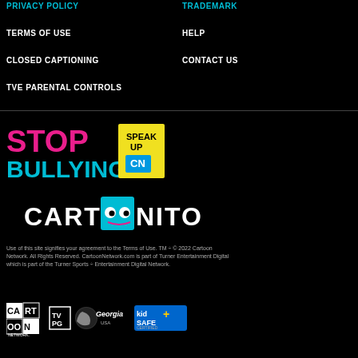PRIVACY POLICY
TRADEMARK
TERMS OF USE
HELP
CLOSED CAPTIONING
CONTACT US
TVE PARENTAL CONTROLS
[Figure (logo): Stop Bullying Speak Up Cartoon Network logo]
[Figure (logo): Cartoonito logo with cyan square]
Use of this site signifies your agreement to the Terms of Use. TM ÷ © 2022 Cartoon Network. All Rights Reserved. CartoonNetwork.com is part of Turner Entertainment Digital which is part of the Turner Sports ÷ Entertainment Digital Network.
[Figure (logo): Cartoon Network logo, TV PG badge, Georgia logo, KidSafe+ logo]